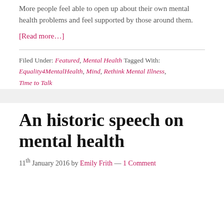More people feel able to open up about their own mental health problems and feel supported by those around them.
[Read more…]
Filed Under: Featured, Mental Health Tagged With: Equality4MentalHealth, Mind, Rethink Mental Illness, Time to Talk
An historic speech on mental health
11th January 2016 by Emily Frith — 1 Comment